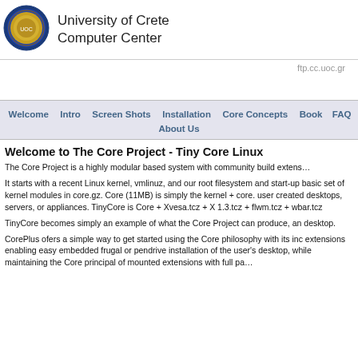[Figure (logo): University of Crete Computer Center logo - circular seal with blue border]
University of Crete Computer Center
ftp.cc.uoc.gr
Welcome  Intro  Screen Shots  Installation  Core Concepts  Book  FAQ  About Us
Welcome to The Core Project - Tiny Core Linux
The Core Project is a highly modular based system with community build extens…
It starts with a recent Linux kernel, vmlinuz, and our root filesystem and start-up basic set of kernel modules in core.gz. Core (11MB) is simply the kernel + core. user created desktops, servers, or appliances. TinyCore is Core + Xvesa.tcz + X 1.3.tcz + flwm.tcz + wbar.tcz
TinyCore becomes simply an example of what the Core Project can produce, an desktop.
CorePlus ofers a simple way to get started using the Core philosophy with its inc extensions enabling easy embedded frugal or pendrive installation of the user's desktop, while maintaining the Core principal of mounted extensions with full pa…